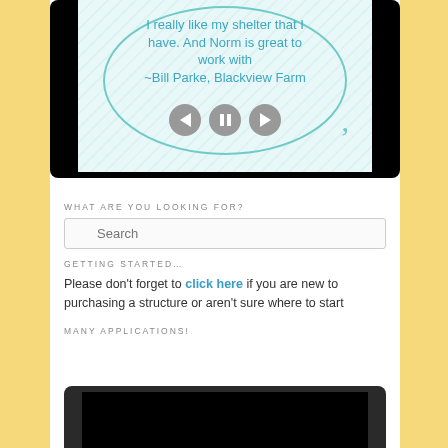[Figure (screenshot): Screenshot of a website slideshow/testimonial widget inside a tablet frame, showing quote: 'I really like my shelter that I have. And Norm is great to work with ~Bill Parke, Blackview Farm' with media playback controls (back, pause, forward buttons) and a closing quotation mark.]
WHAT ARE YOU LOOKING FOR?
[Figure (screenshot): Search input box with placeholder text 'Search' and a search icon]
GETTING STARTED…
Please don't forget to click here if you are new to purchasing a structure or aren't sure where to start
MANY APPLICATIONS!
[Figure (screenshot): Bottom portion of a dark tablet frame showing another video/slideshow widget, partially visible]